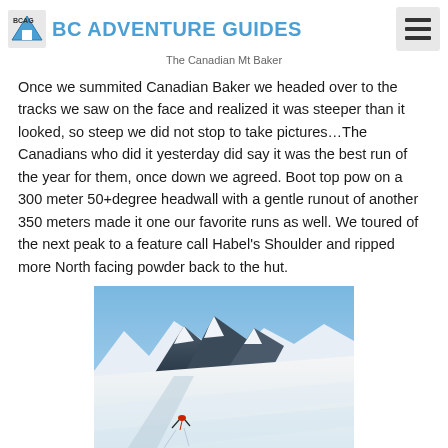BC ADVENTURE GUIDES
The Canadian Mt Baker
Once we summited Canadian Baker we headed over to the tracks we saw on the face and realized it was steeper than it looked, so steep we did not stop to take pictures…The Canadians who did it yesterday did say it was the best run of the year for them, once down we agreed. Boot top pow on a 300 meter 50+degree headwall with a gentle runout of another 350 meters made it one our favorite runs as well. We toured of the next peak to a feature call Habel's Shoulder and ripped more North facing powder back to the hut.
[Figure (photo): A skier descending a steep snow-covered mountain face with dramatic rocky peaks and blue sky in the background]